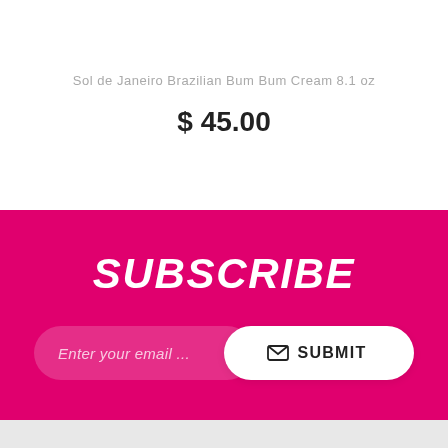Sol de Janeiro Brazilian Bum Bum Cream 8.1 oz
$ 45.00
SUBSCRIBE
Enter your email ...
SUBMIT